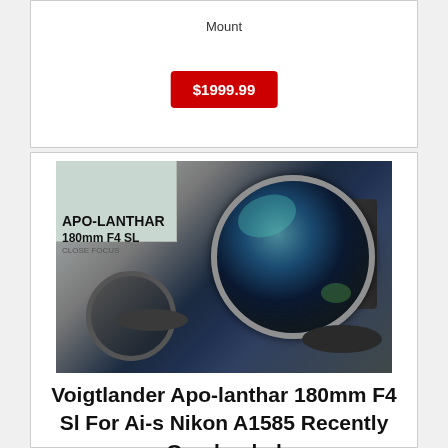Mount
$1999.99
[Figure (photo): Voigtlander Apo-lanthar 180mm F4 SL lens with box, lens cap, filter ring, and lens hood accessories displayed on white background]
Voigtlander Apo-lanthar 180mm F4 Sl For Ai-s Nikon A1585 Recently Overhauled